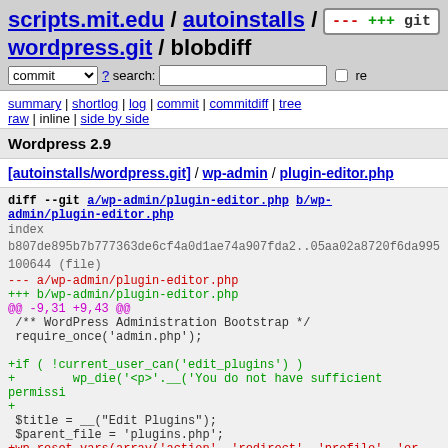scripts.mit.edu / autoinstalls / wordpress.git / blobdiff
commit ? search: re
summary | shortlog | log | commit | commitdiff | tree
raw | inline | side by side
Wordpress 2.9
[autoinstalls/wordpress.git] / wp-admin / plugin-editor.php
diff --git a/wp-admin/plugin-editor.php b/wp-admin/plugin-editor.php
index b807de895b7b777363de6cf4a0d1ae74a907fda2..05aa02a8720f6da995 100644 (file)
--- a/wp-admin/plugin-editor.php
+++ b/wp-admin/plugin-editor.php
@@ -9,31 +9,43 @@
  /** WordPress Administration Bootstrap */
  require_once('admin.php');

+if ( !current_user_can('edit_plugins') )
+        wp_die('<p>'.__('You do not have sufficient permissi
+
  $title = __("Edit Plugins");
  $parent_file = 'plugins.php';